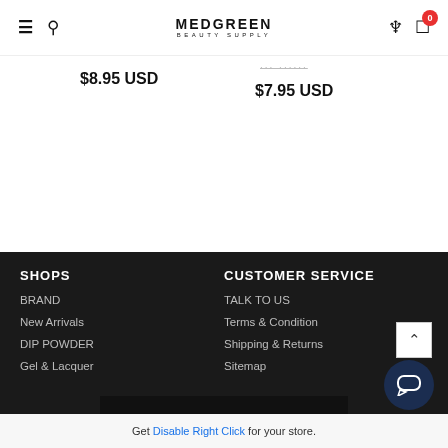MEDGREEN BEAUTY SUPPLY — navigation header with hamburger, search, logo, user, and cart (0)
$8.95 USD
$7.95 USD
SHOPS
BRAND
New Arrivals
DIP POWDER
Gel & Lacquer
CUSTOMER SERVICE
TALK TO US
Terms & Condition
Shipping & Returns
Sitemap
Get Disable Right Click for your store.